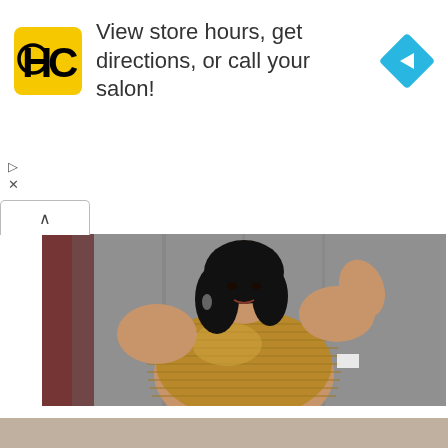[Figure (infographic): Advertisement banner for Haircuttery (HC logo) with text 'View store hours, get directions, or call your salon!' and a blue navigation arrow icon. Small play and close icons at bottom left.]
View store hours, get directions, or call your salon!
[Figure (photo): Photo of a plus-size woman wearing a gold ribbed strapless outfit, posing in what appears to be a fitting room with gray curtains and red garments visible on the left.]
These Accounts Are A Guide For Plus-size Girls To Look Their Best
HERBEAUTY